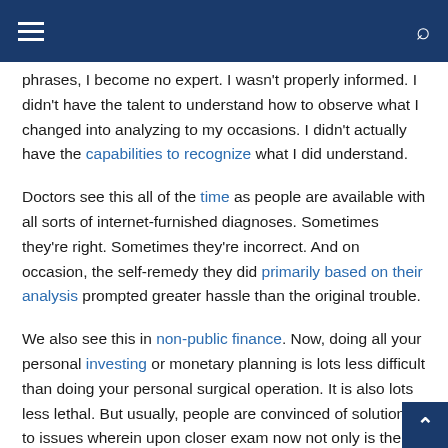≡  🔍
phrases, I become no expert. I wasn't properly informed. I didn't have the talent to understand how to observe what I changed into analyzing to my occasions. I didn't actually have the capabilities to recognize what I did understand.
Doctors see this all of the time as people are available with all sorts of internet-furnished diagnoses. Sometimes they're right. Sometimes they're incorrect. And on occasion, the self-remedy they did primarily based on their analysis prompted greater hassle than the original trouble.
We also see this in non-public finance. Now, doing all your personal investing or monetary planning is lots less difficult than doing your personal surgical operation. It is also lots less lethal. But usually, people are convinced of solutions to issues wherein upon closer exam now not only is the answer incorrect, but the trouble didn't exist in the first location. Eventually, I changed into informed that even as significantly burdened, my bone possibly wasn't fractured. I changed into additionally